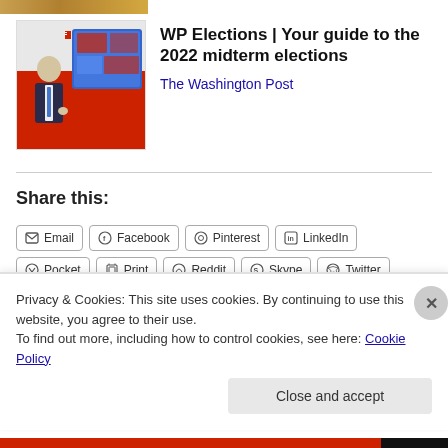[Figure (photo): Top strip showing partial image thumbnail (wooden/orange texture)]
[Figure (photo): Thumbnail of a man in a suit (Biden) in front of election maps in red and blue, Washington Post style]
WP Elections | Your guide to the 2022 midterm elections
The Washington Post
Share this:
Email  Facebook  Pinterest  LinkedIn
Pocket  Print  Reddit  Skype  Twitter
Privacy & Cookies: This site uses cookies. By continuing to use this website, you agree to their use.
To find out more, including how to control cookies, see here: Cookie Policy
Close and accept